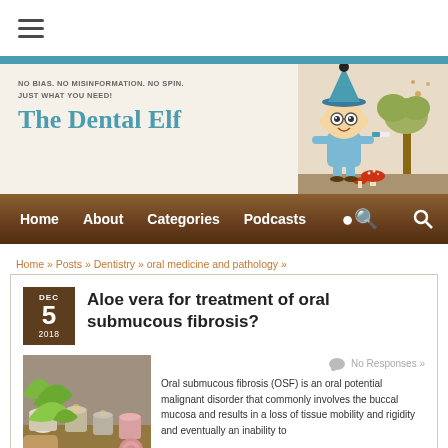[Figure (logo): Hamburger menu icon (three horizontal lines) in top white bar]
NO BIAS. NO MISINFORMATION. NO SPIN. JUST WHAT YOU NEED!
The Dental Elf
[Figure (illustration): The Dental Elf mascot illustration: cartoon elf with blue hat and glasses holding a toothbrush, with mushrooms and tree on a beige background]
Home   About   Categories   Podcasts
Home » Posts » Dentistry » oral medicine and pathology »
Aloe vera for treatment of oral submucous fibrosis?
[Figure (photo): Photo of aloe vera leaves and various cream/product containers on a wooden surface]
No Responses »
Oral submucous fibrosis (OSF) is an oral potential malignant disorder that commonly involves the buccal mucosa and results in a loss of tissue mobility and rigidity and eventually an inability to